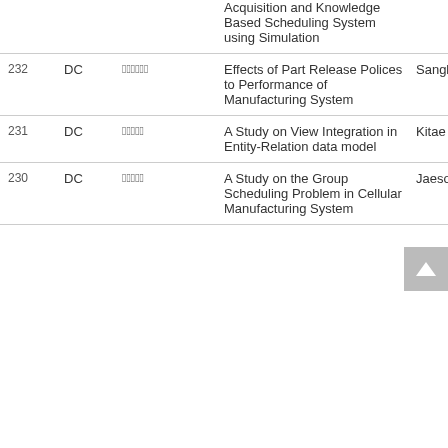| No. | Type | Korean | Title | Author |
| --- | --- | --- | --- | --- |
|  |  |  | Acquisition and Knowledge Based Scheduling System using Simulation |  |
| 232 | DC | 한국어제목 | Effects of Part Release Polices to Performance of Manufacturing System | Sangbok Woo |
| 231 | DC | 한국어제목 | A Study on View Integration in Entity-Relation data model | Kitae Shin |
| 230 | DC | 한국어제목 | A Study on the Group Scheduling Problem in Cellular Manufacturing System | Jaesoo Shim |